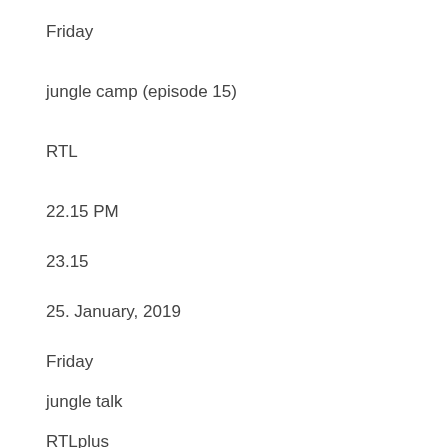Friday
jungle camp (episode 15)
RTL
22.15 PM
23.15
25. January, 2019
Friday
jungle talk
RTLplus